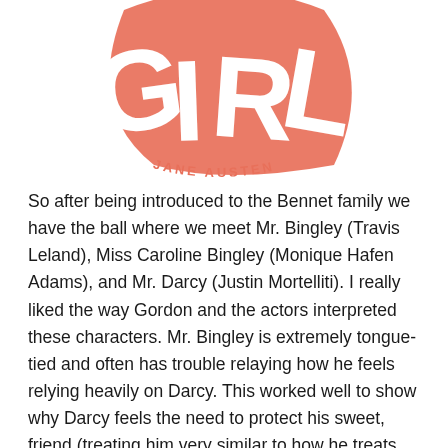[Figure (logo): Decorative logo showing the word GIRL in large salmon/coral colored letters with 'JANE AUSTEN' text beneath in a fan/arc shape]
So after being introduced to the Bennet family we have the ball where we meet Mr. Bingley (Travis Leland), Miss Caroline Bingley (Monique Hafen Adams), and Mr. Darcy (Justin Mortelliti). I really liked the way Gordon and the actors interpreted these characters. Mr. Bingley is extremely tongue-tied and often has trouble relaying how he feels relying heavily on Darcy. This worked well to show why Darcy feels the need to protect his sweet, friend (treating him very similar to how he treats Georgiana) and why Bingley so heavily values on Darcy's judgement over his own.